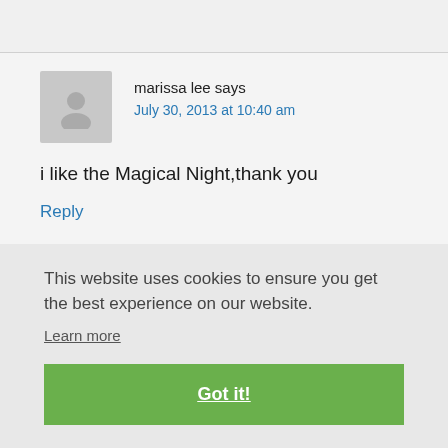marissa lee says
July 30, 2013 at 10:40 am
i like the Magical Night,thank you
Reply
This website uses cookies to ensure you get the best experience on our website.
Learn more
Got it!
Reply